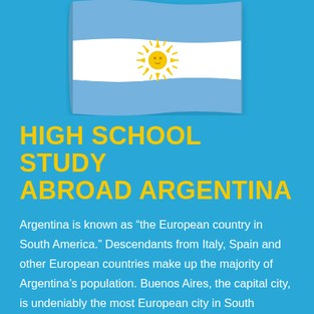[Figure (photo): Argentina national flag draped and waving, showing horizontal light blue and white stripes with the golden Sun of May in the center, displayed against a sky blue background.]
HIGH SCHOOL STUDY ABROAD ARGENTINA
Argentina is known as “the European country in South America.” Descendants from Italy, Spain and other European countries make up the majority of Argentina’s population. Buenos Aires, the capital city, is undeniably the most European city in South America and considered by many its cultural capital.
Furthermore, Argentina is a country rich in geographical varieties, from the northern subtropical regions to the